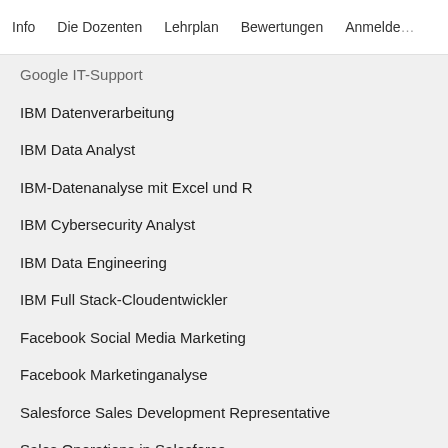Info   Die Dozenten   Lehrplan   Bewertungen   Anmelden
Google IT-Support
IBM Datenverarbeitung
IBM Data Analyst
IBM-Datenanalyse mit Excel und R
IBM Cybersecurity Analyst
IBM Data Engineering
IBM Full Stack-Cloudentwickler
Facebook Social Media Marketing
Facebook Marketinganalyse
Salesforce Sales Development Representative
Sales Operations in Salesforce
Berklee College of Music
Kostenlos anmelden
Beginnt am 2. Sep.